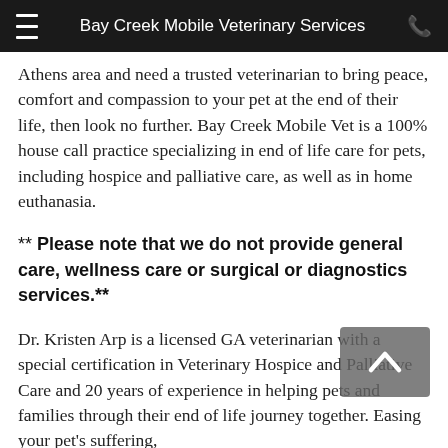Bay Creek Mobile Veterinary Services
Athens area and need a trusted veterinarian to bring peace, comfort and compassion to your pet at the end of their life, then look no further. Bay Creek Mobile Vet is a 100% house call practice specializing in end of life care for pets, including hospice and palliative care, as well as in home euthanasia.
** Please note that we do not provide general care, wellness care or surgical or diagnostics services.**
Dr. Kristen Arp is a licensed GA veterinarian with a special certification in Veterinary Hospice and Palliative Care and 20 years of experience in helping pets and families through their end of life journey together. Easing your pet's suffering, and providing guidance for you and your family